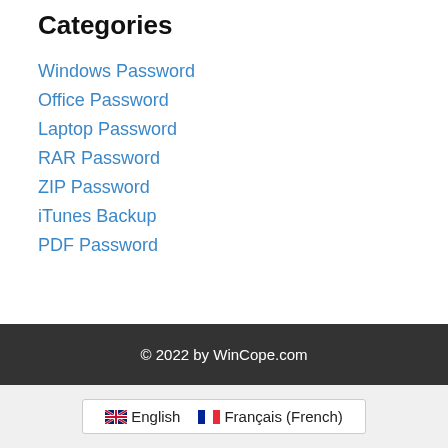Categories
Windows Password
Office Password
Laptop Password
RAR Password
ZIP Password
iTunes Backup
PDF Password
© 2022 by WinCope.com
English  Français (French)